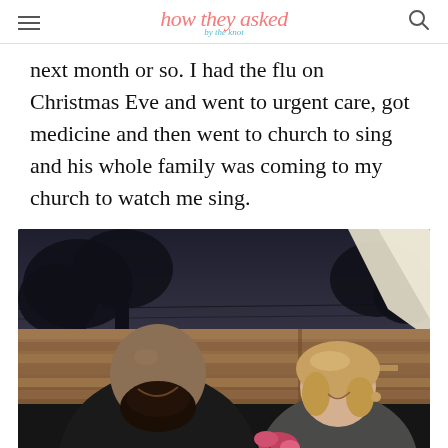how they asked by the knot
next month or so. I had the flu on Christmas Eve and went to urgent care, got medicine and then went to church to sing and his whole family was coming to my church to watch me sing.
[Figure (photo): A couple outdoors at night. A large bald man with a dark beard wearing a black shirt smiles at a woman with wavy blonde hair holding flowers. They are standing in front of a horizontal wooden slat fence with trees and dark sky in the background. There is a bright white element in the upper right corner of the image.]